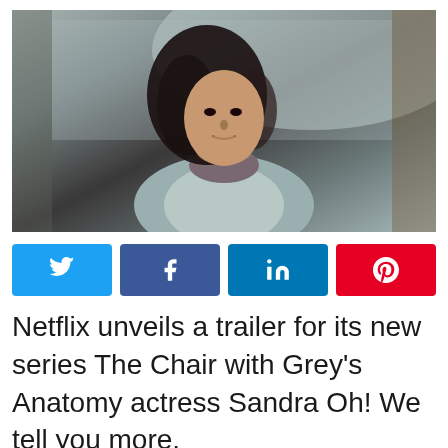[Figure (photo): A woman with dark curly hair blowing in the wind, wearing a light gray vest and striped scarf, looking upward in an outdoor setting with bare trees in the background.]
[Figure (infographic): Four social media share buttons: Twitter (light blue), Facebook (dark blue), LinkedIn (medium blue), Pinterest (red)]
Netflix unveils a trailer for its new series The Chair with Grey's Anatomy actress Sandra Oh! We tell you more.